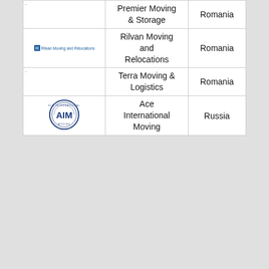|  | Premier Moving & Storage | Romania |
| Rilvan Moving and Relocations | Rilvan Moving and Relocations | Romania |
|  | Terra Moving & Logistics | Romania |
| [AIM logo] | Ace International Moving | Russia |